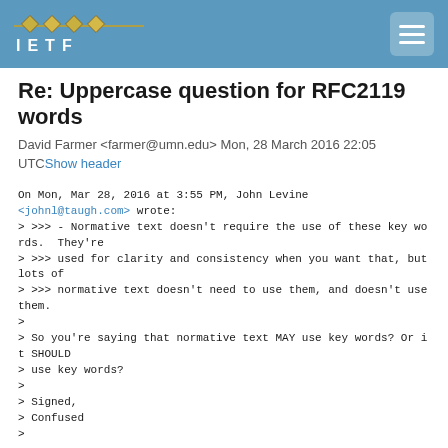IETF
Re: Uppercase question for RFC2119 words
David Farmer <farmer@umn.edu> Mon, 28 March 2016 22:05 UTC Show header
On Mon, Mar 28, 2016 at 3:55 PM, John Levine <johnl@taugh.com> wrote:

> >>> - Normative text doesn't require the use of these key words.  They're
> >>> used for clarity and consistency when you want that, but lots of
> >>> normative text doesn't need to use them, and doesn't use them.
>
> So you're saying that normative text MAY use key words? Or it SHOULD
> use key words?
>
> Signed,
> Confused
>